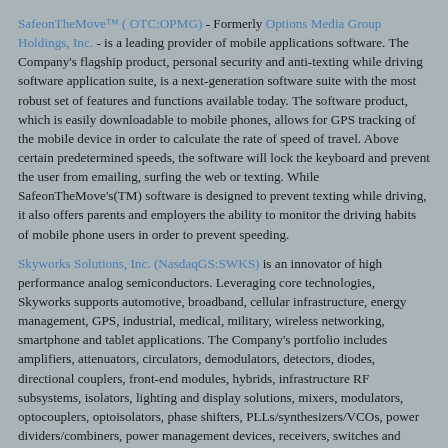SafeonTheMove™ ( OTC:OPMG) - Formerly Options Media Group Holdings, Inc. - is a leading provider of mobile applications software. The Company's flagship product, personal security and anti-texting while driving software application suite, is a next-generation software suite with the most robust set of features and functions available today. The software product, which is easily downloadable to mobile phones, allows for GPS tracking of the mobile device in order to calculate the rate of speed of travel. Above certain predetermined speeds, the software will lock the keyboard and prevent the user from emailing, surfing the web or texting. While SafeonTheMove's(TM) software is designed to prevent texting while driving, it also offers parents and employers the ability to monitor the driving habits of mobile phone users in order to prevent speeding.
Skyworks Solutions, Inc. (NasdaqGS:SWKS) is an innovator of high performance analog semiconductors. Leveraging core technologies, Skyworks supports automotive, broadband, cellular infrastructure, energy management, GPS, industrial, medical, military, wireless networking, smartphone and tablet applications. The Company's portfolio includes amplifiers, attenuators, circulators, demodulators, detectors, diodes, directional couplers, front-end modules, hybrids, infrastructure RF subsystems, isolators, lighting and display solutions, mixers, modulators, optocouplers, optoisolators, phase shifters, PLLs/synthesizers/VCOs, power dividers/combiners, power management devices, receivers, switches and technical ceramics. Headquartered in Woburn, Mass., Skyworks is worldwide with engineering, manufacturing, sales and service facilities throughout Asia, Europe and North America.